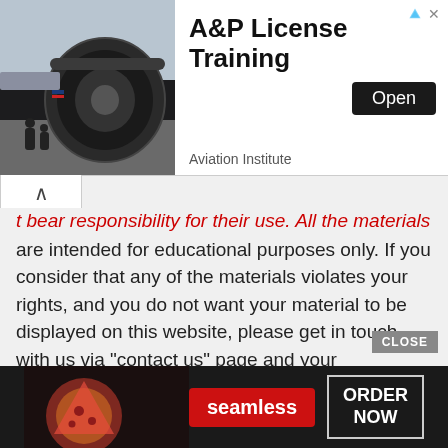[Figure (screenshot): Top advertisement banner for A&P License Training by Aviation Institute, showing a jet engine photo on the left and an Open button on the right]
t bear responsibility for their use. All the materials are intended for educational purposes only. If you consider that any of the materials violates your rights, and you do not want your material to be displayed on this website, please get in touch with us via "contact us" page and your copyrighted material will be immediately removed.
[Figure (screenshot): Bottom advertisement banner for Seamless food delivery service with ORDER NOW button]